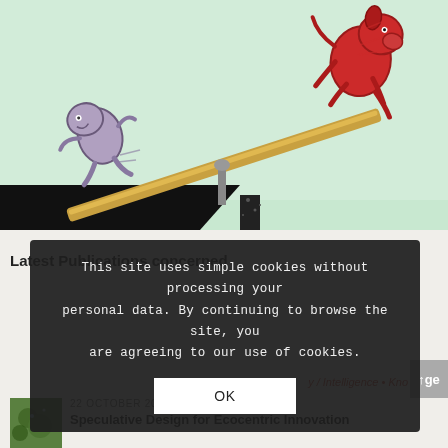[Figure (illustration): Cartoon illustration showing a seesaw/lever. A grey anthropomorphic animal-like figure is on the left, lower end of the seesaw, being launched into a dark pit/abyss below. A red dog-like creature is on the raised right end, higher up. The background is light green/mint. The seesaw pivot is in the middle. There is a large black void/cliff on the left side below the seesaw.]
This site uses simple cookies without processing your personal data. By continuing to browse the site, you are agreeing to our use of cookies.
Latest Publications concerned
y / Intelligence • Knowledge
22 OCTOBER 2019
Speculative Design for Ecocentric Innovation